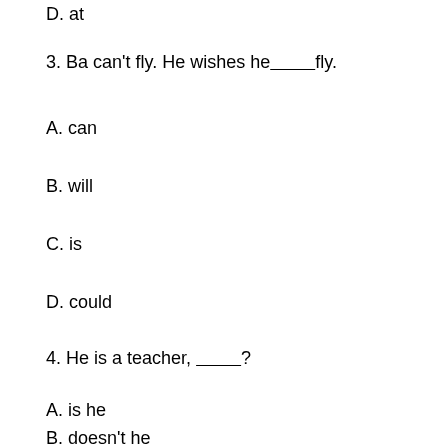D. at
3. Ba can't fly. He wishes he_________fly.
A. can
B. will
C. is
D. could
4. He is a teacher, _________?
A. is he
B. doesn't he